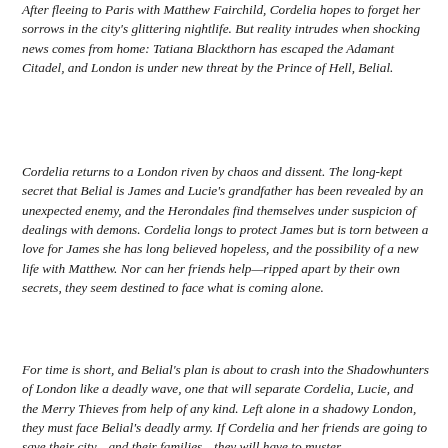After fleeing to Paris with Matthew Fairchild, Cordelia hopes to forget her sorrows in the city's glittering nightlife. But reality intrudes when shocking news comes from home: Tatiana Blackthorn has escaped the Adamant Citadel, and London is under new threat by the Prince of Hell, Belial.
Cordelia returns to a London riven by chaos and dissent. The long-kept secret that Belial is James and Lucie's grandfather has been revealed by an unexpected enemy, and the Herondales find themselves under suspicion of dealings with demons. Cordelia longs to protect James but is torn between a love for James she has long believed hopeless, and the possibility of a new life with Matthew. Nor can her friends help—ripped apart by their own secrets, they seem destined to face what is coming alone.
For time is short, and Belial's plan is about to crash into the Shadowhunters of London like a deadly wave, one that will separate Cordelia, Lucie, and the Merry Thieves from help of any kind. Left alone in a shadowy London, they must face Belial's deadly army. If Cordelia and her friends are going to save their city—and their families—they will have to muster